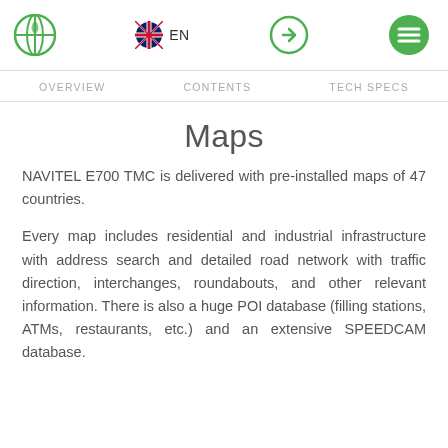NAVITEL logo | EN | login icon | menu icon
OVERVIEW   CONTENTS   TECH SPECS
Maps
NAVITEL E700 TMC is delivered with pre-installed maps of 47 countries.
Every map includes residential and industrial infrastructure with address search and detailed road network with traffic direction, interchanges, roundabouts, and other relevant information. There is also a huge POI database (filling stations, ATMs, restaurants, etc.) and an extensive SPEEDCAM database.